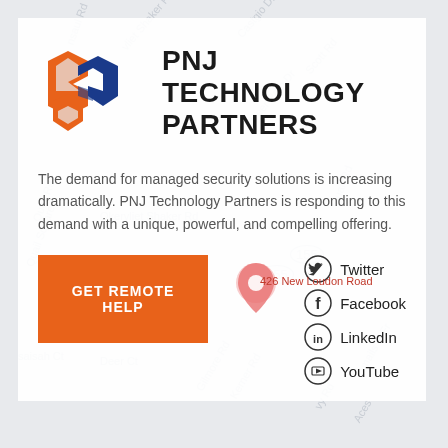[Figure (logo): PNJ Technology Partners logo with orange and blue hexagonal icon]
PNJ TECHNOLOGY PARTNERS
The demand for managed security solutions is increasing dramatically. PNJ Technology Partners is responding to this demand with a unique, powerful, and compelling offering.
GET REMOTE HELP
Twitter
Facebook
LinkedIn
YouTube